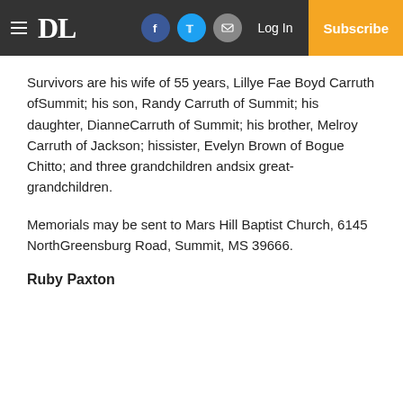DL | Log In | Subscribe
Survivors are his wife of 55 years, Lillye Fae Boyd Carruth ofSummit; his son, Randy Carruth of Summit; his daughter, DianneCarruth of Summit; his brother, Melroy Carruth of Jackson; hissister, Evelyn Brown of Bogue Chitto; and three grandchildren andsix great-grandchildren.
Memorials may be sent to Mars Hill Baptist Church, 6145 NorthGreensburg Road, Summit, MS 39666.
Ruby Paxton